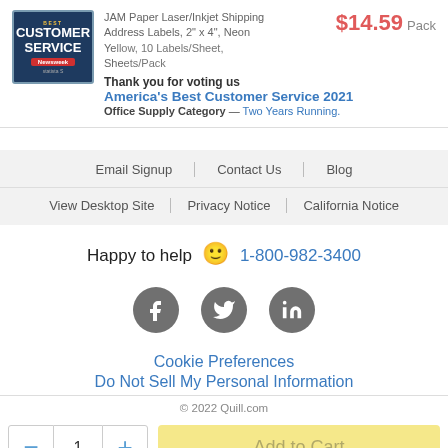JAM Paper Laser/Inkjet Shipping Address Labels, 2" x 4", Neon Yellow, 10 Labels/Sheet, 25 Sheets/Pack
$14.59 Pack
[Figure (logo): Best Customer Service award badge with Newsweek logo]
Thank you for voting us America's Best Customer Service 2021 Office Supply Category — Two Years Running.
Email Signup | Contact Us | Blog
View Desktop Site | Privacy Notice | California Notice
Happy to help 🙂 1-800-982-3400
[Figure (logo): Facebook, Twitter, LinkedIn social media icons in dark grey circles]
Cookie Preferences
Do Not Sell My Personal Information
© 2022 Quill.com
— 1 + Add to Cart